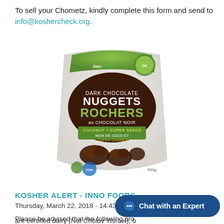To sell your Chometz, kindly complete this form and send to info@koshercheck.org.
[Figure (photo): Product photo of Inno Foods Dark Chocolate Nuggets / Rochers au Chocolat Noir with Coconut + Super Seeds / Noix de Coco et Super Graines, in a white stand-up pouch bag with green accents]
KOSHER ALERT - INNO FOODS
Thursday, March 22, 2018 - 14:43
Please be advised that the following pro... are certified dairy (Not Cholov Yisroel), b... parve Kosher Check logo.